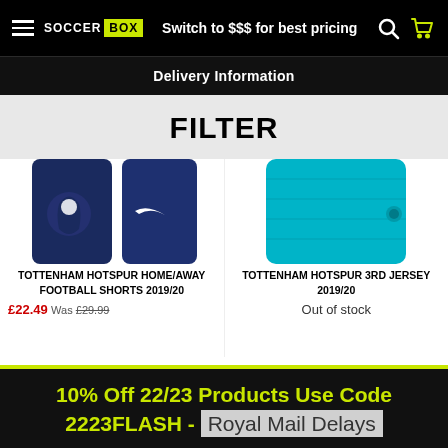Soccer Box | Switch to $$$ for best pricing
Delivery Information
FILTER
[Figure (photo): Tottenham Hotspur dark navy football shorts with club crest and Nike swoosh logo, cropped view]
TOTTENHAM HOTSPUR HOME/AWAY FOOTBALL SHORTS 2019/20
£22.49 Was £29.99
[Figure (photo): Tottenham Hotspur 3rd jersey in teal/cyan color, cropped view]
TOTTENHAM HOTSPUR 3RD JERSEY 2019/20
Out of stock
10% Off 22/23 Products Use Code 2223FLASH - Royal Mail Delays